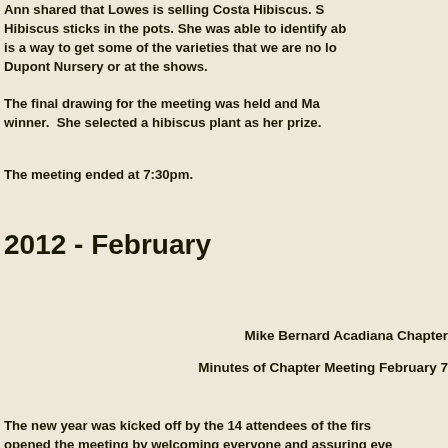Ann shared that Lowes is selling Costa Hibiscus. She also noticed Tropical Hibiscus sticks in the pots. She was able to identify about 6 varieties. There is a way to get some of the varieties that we are no longer able to find at Dupont Nursery or at the shows.
The final drawing for the meeting was held and Ma was the winner. She selected a hibiscus plant as her prize.
The meeting ended at 7:30pm.
2012 - February
Mike Bernard Acadiana Chapter
Minutes of Chapter Meeting February 7
The new year was kicked off by the 14 attendees of the first meeting. Mike opened the meeting by welcoming everyone and assuring everyone...